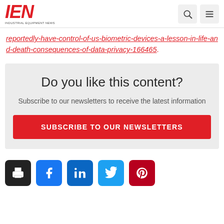IEN - Industrial Equipment News
reportedly-have-control-of-us-biometric-devices-a-lesson-in-life-and-death-consequences-of-data-privacy-166465.
Do you like this content? Subscribe to our newsletters to receive the latest information
SUBSCRIBE TO OUR NEWSLETTERS
[Figure (other): Row of five social sharing icons: print (black), Facebook (blue), LinkedIn (dark blue), Twitter (light blue), Pinterest (dark red)]